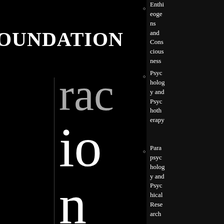OUNDATION
rac ion to In se
Entheogens and Consciousness
Psychology and Psychotherapy
Parapsychology and Psychical Research